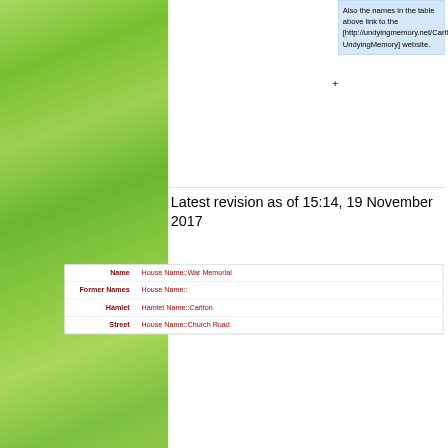Also the names in the table above link to the [http://undyingmemory.net/Carlton/index.html UndyingMemory] website.
Latest revision as of 15:14, 19 November 2017
| Field | Value |
| --- | --- |
| Name | House Name::War Memorial |
| Former Names | House Name:: |
| Hamlet | Hamlet Name::Carlton |
| Street | House Name::Church Road |